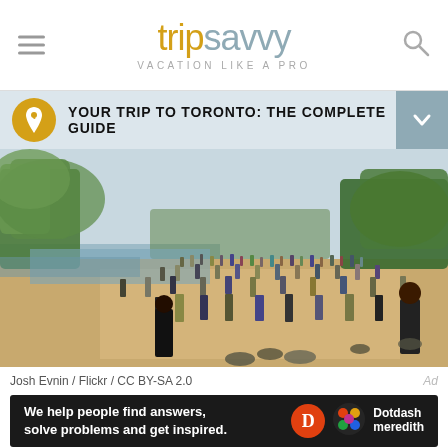tripsavvy VACATION LIKE A PRO
YOUR TRIP TO TORONTO: THE COMPLETE GUIDE
[Figure (photo): Crowded beach scene in Toronto with people wading in water, sitting on sand, and trees in background. Lake Ontario visible in distance.]
Josh Evnin / Flickr / CC BY-SA 2.0
[Figure (infographic): Dotdash Meredith advertisement: 'We help people find answers, solve problems and get inspired.' with Dotdash Meredith logo.]